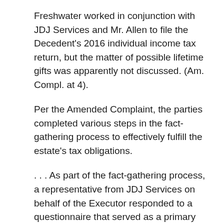Freshwater worked in conjunction with JDJ Services and Mr. Allen to file the Decedent's 2016 individual income tax return, but the matter of possible lifetime gifts was apparently not discussed. (Am. Compl. at 4).
Per the Amended Complaint, the parties completed various steps in the fact-gathering process to effectively fulfill the estate's tax obligations.
. . . As part of the fact-gathering process, a representative from JDJ Services on behalf of the Executor responded to a questionnaire that served as a primary information source for Mr. Allen's representation of the Executor. (Mr.